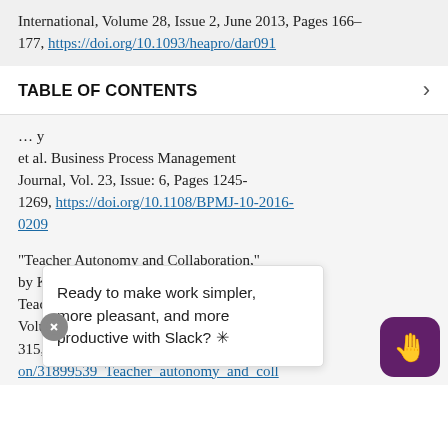International, Volume 28, Issue 2, June 2013, Pages 166–177, https://doi.org/10.1093/heapro/dar091
TABLE OF CONTENTS
et al. Business Process Management Journal, Vol. 23, Issue: 6, Pages 1245-1269, https://doi.org/10.1108/BPMJ-10-2016-0209
"Teacher Autonomy and Collaboration," by Katrien Vangrieken, et al. Teaching and Teacher Education, October 2017, Volume 67, Pages 302-315, https://www.researchgate.net/publication/318299539_Teacher_autonomy_and_collaborative_learning_measured...borative
Ready to make work simpler, more pleasant, and more productive with Slack? ✳